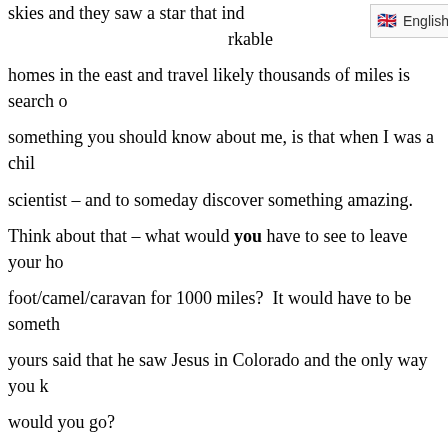skies and they saw a star that ind [English UI dropdown] rkable homes in the east and travel likely thousands of miles is search o something you should know about me, is that when I was a chil scientist – and to someday discover something amazing. Think about that – what would you have to see to leave your ho foot/camel/caravan for 1000 miles?  It would have to be someth yours said that he saw Jesus in Colorado and the only way you k would you go? Although tradition says there were three Magi, again we don't k they were 2 or 20. They likely didn't come alone, but with a wh them, which is why they made such a splash when they arrived  three people wandered into a town, would the mayor of the tow think about the caravan of migrants from central America comin mayor, the governor, the president. This is likely similar to wha group was approaching.  Were they coming as envoys to a conq why they came, so the Magi were given instant audience with h I could spend a lot of time on Herod here, but I'm going to chos fellow and there isn't much about God we can learn from him. . Magi. They asked: